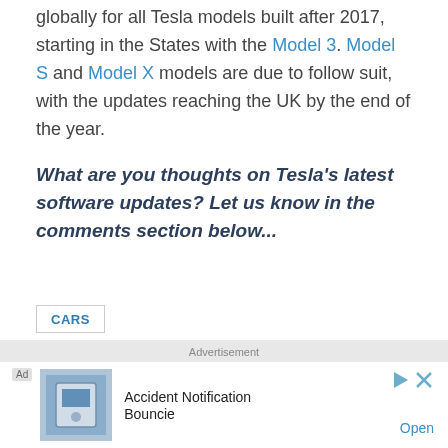globally for all Tesla models built after 2017, starting in the States with the Model 3. Model S and Model X models are due to follow suit, with the updates reaching the UK by the end of the year.
What are you thoughts on Tesla's latest software updates? Let us know in the comments section below...
CARS
[Figure (infographic): Social sharing icons: Twitter bird icon, Facebook f icon, and email envelope icon, each in a bordered square box]
Advertisement
[Figure (infographic): Advertisement banner: Ad badge, product image (Bouncie device), text 'Accident Notification Bouncie', play and close icons, and 'Open' link]